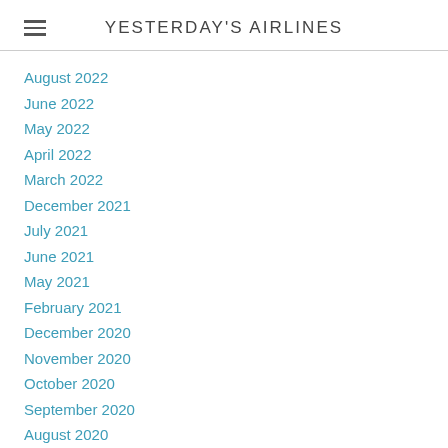YESTERDAY'S AIRLINES
August 2022
June 2022
May 2022
April 2022
March 2022
December 2021
July 2021
June 2021
May 2021
February 2021
December 2020
November 2020
October 2020
September 2020
August 2020
July 2020
June 2020